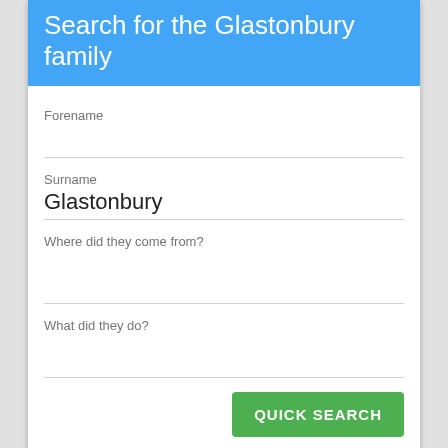Search for the Glastonbury family
Forename
Surname
Glastonbury
Where did they come from?
What did they do?
QUICK SEARCH